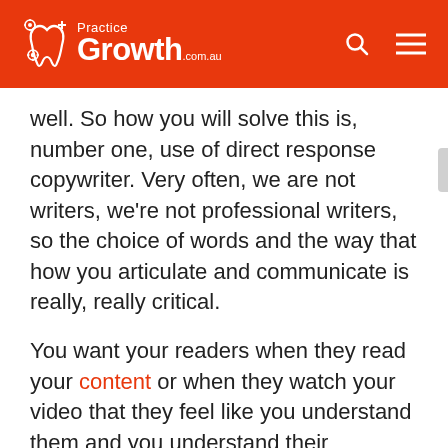Practice Growth .com.au
well. So how you will solve this is, number one, use of direct response copywriter. Very often, we are not writers, we're not professional writers, so the choice of words and the way that how you articulate and communicate is really, really critical.
You want your readers when they read your content or when they watch your video that they feel like you understand them and you understand their problems. The way that if...